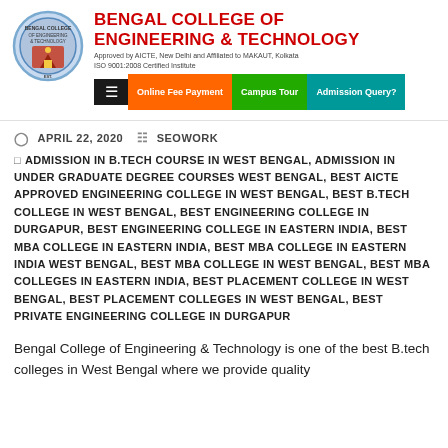[Figure (logo): Bengal College of Engineering & Technology circular logo with red and blue design]
BENGAL COLLEGE OF ENGINEERING & TECHNOLOGY
Approved by AICTE, New Delhi and Affiliated to MAKAUT, Kolkata
ISO 9001:2008 Certified Institute
☰  Online Fee Payment  Campus Tour  Admission Query?
APRIL 22, 2020   SEOWORK
ADMISSION IN B.TECH COURSE IN WEST BENGAL, ADMISSION IN UNDER GRADUATE DEGREE COURSES WEST BENGAL, BEST AICTE APPROVED ENGINEERING COLLEGE IN WEST BENGAL, BEST B.TECH COLLEGE IN WEST BENGAL, BEST ENGINEERING COLLEGE IN DURGAPUR, BEST ENGINEERING COLLEGE IN EASTERN INDIA, BEST MBA COLLEGE IN EASTERN INDIA, BEST MBA COLLEGE IN EASTERN INDIA WEST BENGAL, BEST MBA COLLEGE IN WEST BENGAL, BEST MBA COLLEGES IN EASTERN INDIA, BEST PLACEMENT COLLEGE IN WEST BENGAL, BEST PLACEMENT COLLEGES IN WEST BENGAL, BEST PRIVATE ENGINEERING COLLEGE IN DURGAPUR
Bengal College of Engineering & Technology is one of the best B.tech colleges in West Bengal where we provide quality